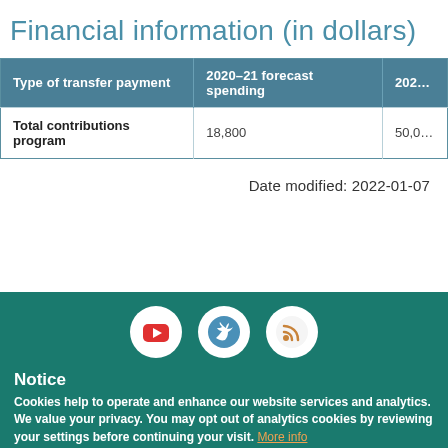Financial information (in dollars)
| Type of transfer payment | 2020–21 forecast spending | 202… |
| --- | --- | --- |
| Total contributions program | 18,800 | 50,0… |
Date modified: 2022-01-07
[Figure (other): Social media icons: YouTube, Twitter, RSS feed]
Notice
Cookies help to operate and enhance our website services and analytics. We value your privacy. You may opt out of analytics cookies by reviewing your settings before continuing your visit. More info